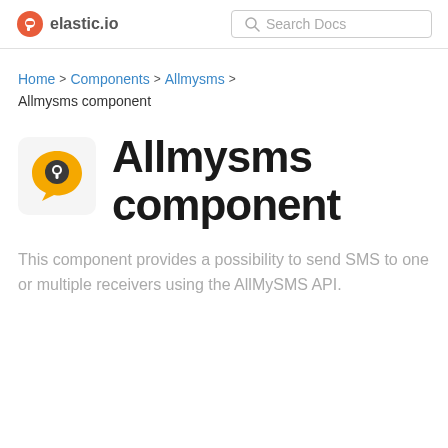elastic.io | Search Docs
Home > Components > Allmysms > Allmysms component
Allmysms component
[Figure (logo): Allmysms logo: yellow speech bubble with a dark circle containing a magnifier/pin icon]
This component provides a possibility to send SMS to one or multiple receivers using the AllMySMS API.